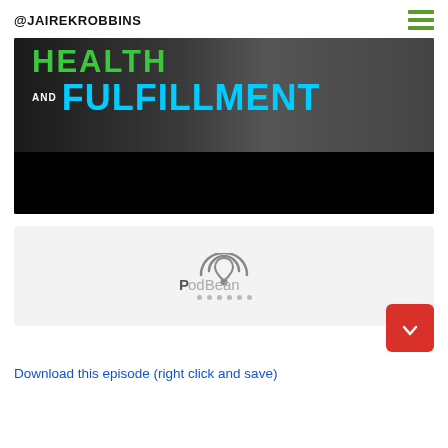@JAIREKROBBINS
[Figure (photo): Dark background image showing text 'HEALTH AND FULFILLMENT' in green and cyan bold letters, with a person's silhouette in the background. Lower portion is solid black.]
[Figure (logo): PodBean logo with wifi/podcast arc icon in gray, with loading dots below.]
Download this episode (right click and save)